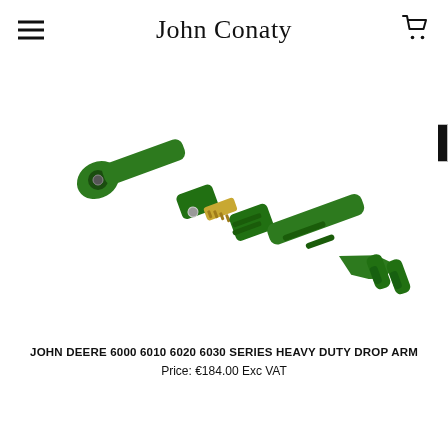John Conaty
Enter Model, Part Number and/or Keywords...
[Figure (photo): Green heavy duty drop arm mechanical component for John Deere 6000 6010 6020 6030 series tractors, adjustable linkage arm with gold-colored threaded adjuster in the middle, photographed diagonally on white background.]
JOHN DEERE 6000 6010 6020 6030 SERIES HEAVY DUTY DROP ARM
Price: €184.00 Exc VAT
12 in stock!
ADD TO CART